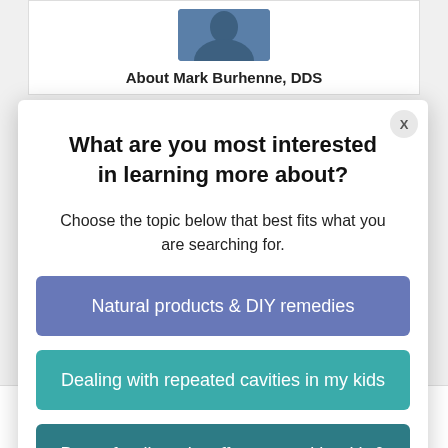[Figure (photo): Partial view of author photo (person in blue/dark shirt) visible behind modal]
About Mark Burhenne, DDS
What are you most interested in learning more about?
Choose the topic below that best fits what you are searching for.
Natural products & DIY remedies
Dealing with repeated cavities in my kids
Breastfeeding - its effect on oral health & cavities
All Posts